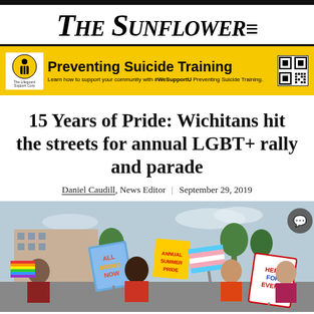The Sunflower
[Figure (infographic): Advertisement banner for Preventing Suicide Training with yellow background, logo, QR code. Text: Preventing Suicide Training. Learn how to support your community with #WeSupportU Preventing Suicide Training.]
15 Years of Pride: Wichitans hit the streets for annual LGBT+ rally and parade
Daniel Caudill, News Editor | September 29, 2019
[Figure (photo): Crowd of people marching in an LGBT+ Pride parade, holding colorful signs including 'ALL BODIES NOW' and 'HERE FOR EVERY'. People are smiling and celebrating in the street.]